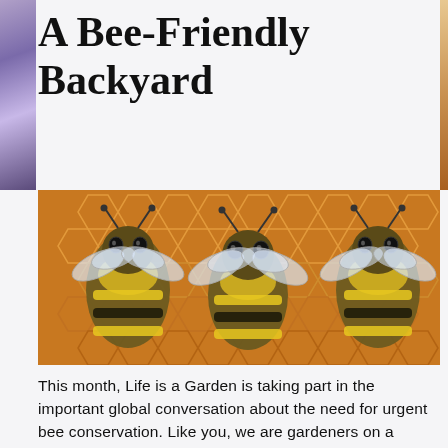A Bee-Friendly Backyard
[Figure (photo): Close-up photo of honey bees on honeycomb, showing three bees with visible wings and striped abdomens against an orange hexagonal honeycomb background.]
This month, Life is a Garden is taking part in the important global conversation about the need for urgent bee conservation. Like you, we are gardeners on a mission! And this month our mission is to #PolliNationSA and gather all the green fingers we can to join us in creating nation-wide, bee-friendly backyards. Here's how you can help our crop crusaders by planting their faves, making small adjustments to your current garden, and even building homes for these hard workers.